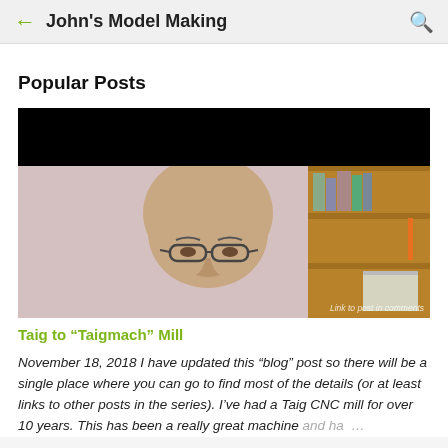John's Model Making
Popular Posts
[Figure (photo): Screenshot of a blog mobile app showing a man's face (bald, glasses) with a bookshelf in the background. A black bar covers the top portion of the video/image. Watermark text 'Link to post in comments' visible at bottom right.]
Taig to "Taigmach" Mill
November 18, 2018 I have updated this "blog" post so there will be a single place where you can go to find most of the details (or at least links to other posts in the series). I've had a Taig CNC mill for over 10 years. This has been a really great machine and ha...